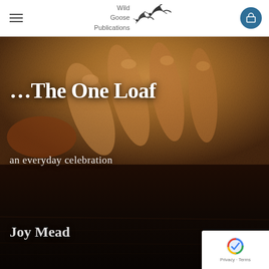Wild Goose Publications — navigation header with hamburger menu and cart button
[Figure (photo): Book cover for '...The One Loaf: an everyday celebration' by Joy Mead, published by Wild Goose Publications. Close-up photograph of hands holding bread dough against a dark wooden background. White text overlaid reads '...The One Loaf' in large serif bold, 'an everyday celebration' below it, and 'Joy Mead' at bottom left.]
...The One Loaf
an everyday celebration
Joy Mead